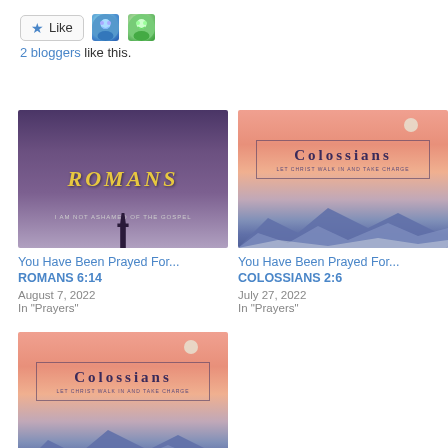[Figure (screenshot): Like button with star icon and two blogger avatars]
2 bloggers like this.
[Figure (illustration): Romans – dark purple sky with silhouette figure, yellow ROMANS text]
You Have Been Prayed For... ROMANS 6:14
August 7, 2022
In "Prayers"
[Figure (illustration): Colossians – sunset sky with moon and mountains, dark blue COLOSSIANS text in box]
You Have Been Prayed For... COLOSSIANS 2:6
July 27, 2022
In "Prayers"
[Figure (illustration): Colossians – same sunset image as above]
You Have Been Prayed For... COLOSSIANS 3:14